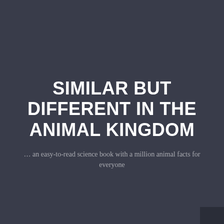SIMILAR BUT DIFFERENT IN THE ANIMAL KINGDOM
… an easy-to-read science book with a million animal facts for everyone